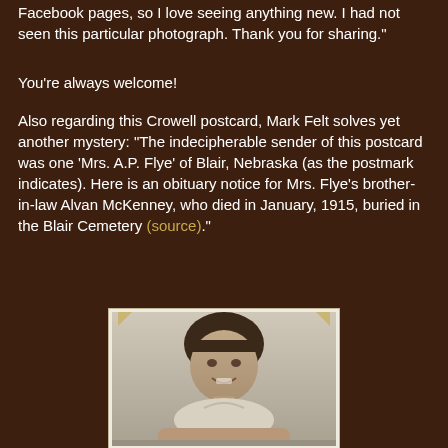Facebook pages, so I love seeing anything new. I had not seen this particular photograph. Thank you for sharing."
You're always welcome!
Also regarding this Crowell postcard, Mark Felt solves yet another mystery: "The indecipherable sender of this postcard was one 'Mrs. A.P. Flye' of Blair, Nebraska (as the postmark indicates). Here is an obituary notice for Mrs. Flye's brother-in-law Alvan McKenney, who died in January, 1915, buried in the Blair Cemetery (source)."
[Figure (photo): Black and white photograph of a young girl with a bowl cut hairstyle, smiling at the camera, resting her arms on a surface. The photo has corner mounts visible at the top.]